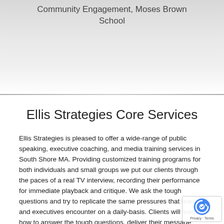Community Engagement, Moses Brown School
Ellis Strategies Core Services
Ellis Strategies is pleased to offer a wide-range of public speaking, executive coaching, and media training services in South Shore MA. Providing customized training programs for both individuals and small groups we put our clients through the paces of a real TV interview, recording their performance for immediate playback and critique. We ask the tough questions and try to replicate the same pressures that leaders and executives encounter on a daily-basis. Clients will learn how to answer the tough questions, deliver their message with confidence and conviction, and gain the tools necessary to maximize their communications potential. We have worked with professionals of all levels of experience and will work with